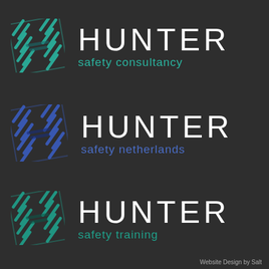[Figure (logo): Hunter Safety Consultancy logo with teal geometric H icon and white HUNTER text with teal 'safety consultancy' subtitle]
[Figure (logo): Hunter Safety Netherlands logo with blue geometric H icon and white HUNTER text with blue 'safety netherlands' subtitle]
[Figure (logo): Hunter Safety Training logo with teal geometric H icon and white HUNTER text with teal 'safety training' subtitle]
Website Design by Salt